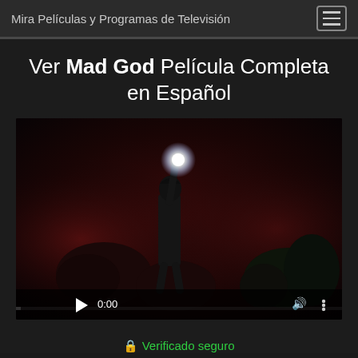Mira Películas y Programas de Televisión
Ver Mad God Película Completa en Español
[Figure (screenshot): Video player showing Mad God movie poster/thumbnail: a dark figure (soldier) standing with a glowing light raised above their head, surrounded by monstrous creatures in a dark reddish environment. Video controls show play button, 0:00 timestamp, volume icon, and more options icon at the bottom.]
🔒 Verificado seguro